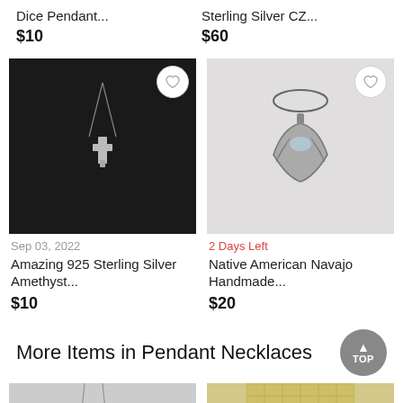Dice Pendant...
$10
Sterling Silver CZ...
$60
[Figure (photo): Cross pendant necklace on black mannequin bust with heart/wishlist button]
Sep 03, 2022
Amazing 925 Sterling Silver Amethyst...
$10
[Figure (photo): Native American Navajo handmade silver crescent pendant necklace on white background with heart/wishlist button]
2 Days Left
Native American Navajo Handmade...
$20
More Items in Pendant Necklaces
[Figure (photo): Partial thumbnail of pendant necklace item (left)]
[Figure (photo): Partial thumbnail of pendant necklace item (right)]